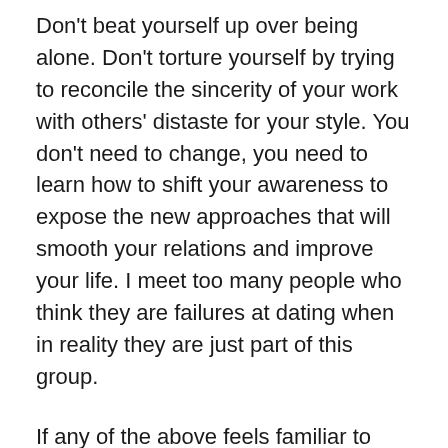Don't beat yourself up over being alone. Don't torture yourself by trying to reconcile the sincerity of your work with others' distaste for your style. You don't need to change, you need to learn how to shift your awareness to expose the new approaches that will smooth your relations and improve your life. I meet too many people who think they are failures at dating when in reality they are just part of this group.
If any of the above feels familiar to you, please contact me. One of my greatest pleasures is freeing people from the tyranny of others' perceptions so that they can maximize who and how they are. Improving your life is not as hard as it seems when you're working with someone who has studied these personalities in the unique and empathetic ways I have.